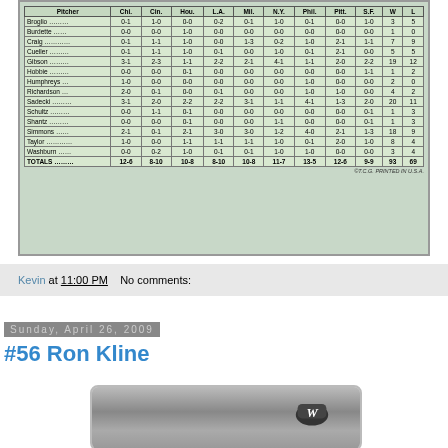[Figure (table-as-image): Baseball card back showing pitcher statistics table for St. Louis Cardinals pitchers vs NL teams, with W/L totals]
Kevin at 11:00 PM    No comments:
Sunday, April 26, 2009
#56 Ron Kline
[Figure (photo): Baseball card photo of Ron Kline wearing Washington Nationals cap with W logo, black and white photo]